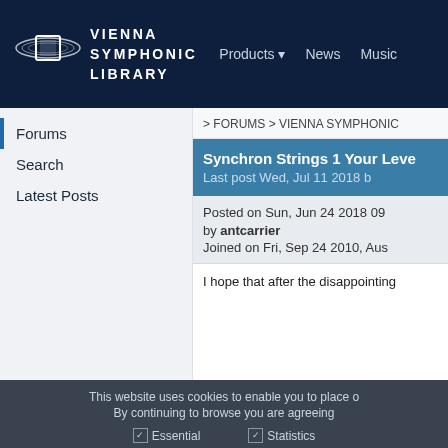VIENNA SYMPHONIC LIBRARY — Products ▾ News Music
Forums
Search
Latest Posts
> FORUMS > VIENNA SYMPHONIC
Synchron Strings 1 Your Leve
Last post Wed, Jul 11 2018 b
Posted on Sun, Jun 24 2018 09
by antcarrier
Joined on Fri, Sep 24 2010, Aus
I hope that after the disappointing
This website uses cookies to enable you to place o
By continuing to browse you are agreeing
☑ Essential   ☑ Statistics